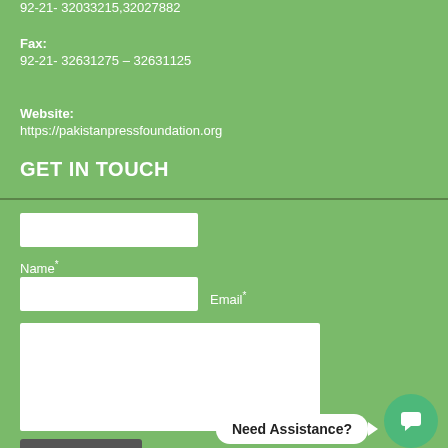92-21- 32033215,32027882
Fax:
92-21- 32631275 – 32631125
Website:
https://pakistanpressfoundation.org
GET IN TOUCH
[Figure (other): Contact form with Name and Email fields, a message textarea, and a Send E-mail button. Also shows a Need Assistance? chat bubble with a chat icon.]